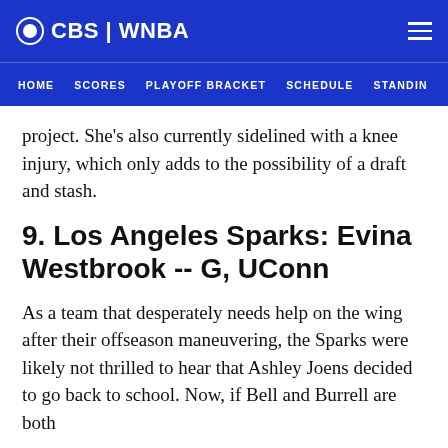CBS | WNBA
HOME   SCORES   PLAYOFF BRACKET   SCHEDULE   STANDIN
project. She's also currently sidelined with a knee injury, which only adds to the possibility of a draft and stash.
9. Los Angeles Sparks: Evina Westbrook -- G, UConn
As a team that desperately needs help on the wing after their offseason maneuvering, the Sparks were likely not thrilled to hear that Ashley Joens decided to go back to school. Now, if Bell and Burrell are both